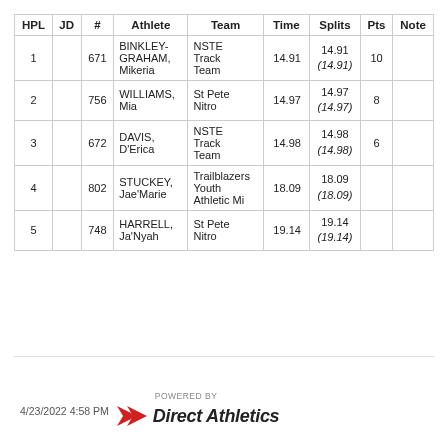| HPL | JD | # | Athlete | Team | Time | Splits | Pts | Note |
| --- | --- | --- | --- | --- | --- | --- | --- | --- |
| 1 |  | 671 | BINKLEY-GRAHAM, Mikeria | NSTE Track Team | 14.91 | 14.91 (14.91) | 10 |  |
| 2 |  | 756 | WILLIAMS, Mia | St Pete Nitro | 14.97 | 14.97 (14.97) | 8 |  |
| 3 |  | 672 | DAVIS, D'Erica | NSTE Track Team | 14.98 | 14.98 (14.98) | 6 |  |
| 4 |  | 802 | STUCKEY, Jae'Marie | Trailblazers Youth Athletic Mi | 18.09 | 18.09 (18.09) |  |  |
| 5 |  | 748 | HARRELL, Ja'Nyah | St Pete Nitro | 19.14 | 19.14 (19.14) |  |  |
4/23/2022 4:58 PM | POWERED BY Direct Athletics